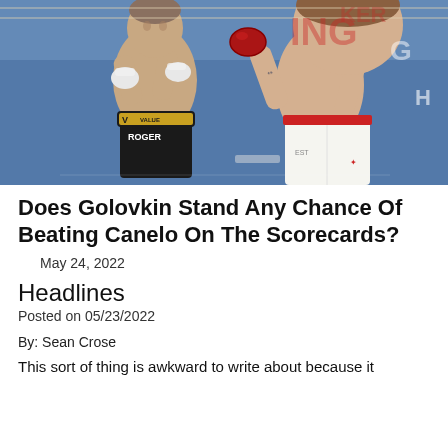[Figure (photo): Two boxers in a boxing match. Left boxer has a black and gold belt with 'VALUE CASA DE BOLSA' and 'ROGER' visible. Right boxer wears white shorts. Blue ring background.]
Does Golovkin Stand Any Chance Of Beating Canelo On The Scorecards?
May 24, 2022
Headlines
Posted on 05/23/2022
By: Sean Crose
This sort of thing is awkward to write about because it